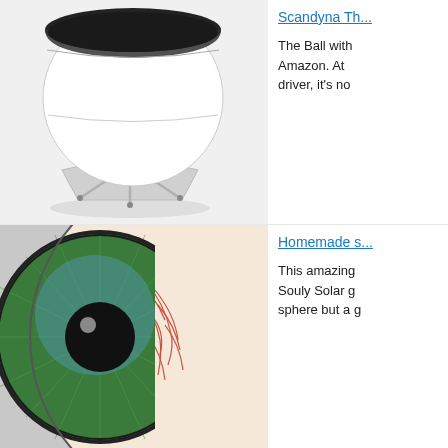[Figure (photo): A white spherical speaker (Scandyna The Ball) on a tripod stand with a dark top cap]
Scandyna Th...
The Ball with Amazon. At driver, it's no
[Figure (photo): A large model of a human eye sphere showing the iris in green/blue and red veins on the white sclera portion]
Homemade s...
This amazing Souly Solar g sphere but a g